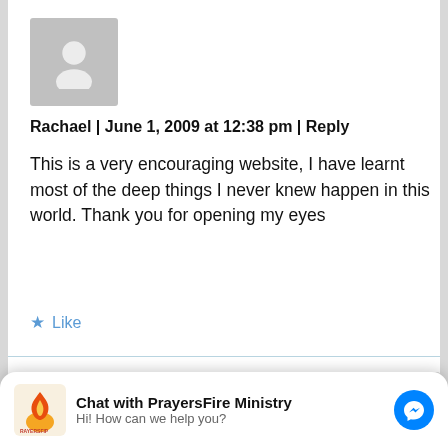[Figure (illustration): Gray avatar placeholder image with person silhouette icon]
Rachael | June 1, 2009 at 12:38 pm | Reply
This is a very encouraging website, I have learnt most of the deep things I never knew happen in this world. Thank you for opening my eyes
★ Like
[Figure (illustration): Second gray avatar placeholder, partially visible]
andrew e.o. | June 8, 2009 at 11:33 am | Reply
[Figure (logo): PrayersFire Ministry logo with flame icon]
Chat with PrayersFire Ministry
Hi! How can we help you?